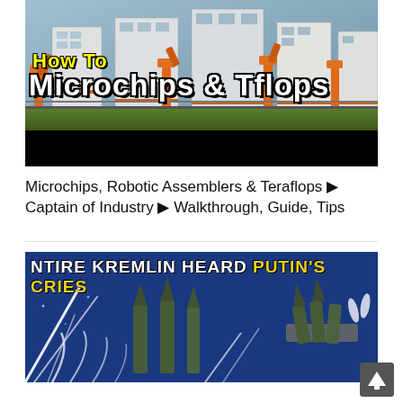[Figure (screenshot): Video thumbnail showing a factory/industrial scene with robotic arms and text 'How To Microchips & Tflops' in yellow and white Impact font over a black bar]
Microchips, Robotic Assemblers & Teraflops ▶ Captain of Industry ▶ Walkthrough, Guide, Tips
[Figure (screenshot): Video thumbnail with dark blue background showing missiles/rockets and headline text 'NTIRE KREMLIN HEARD PUTIN'S CRIES' with 'PUTIN'S CRIES' in yellow]